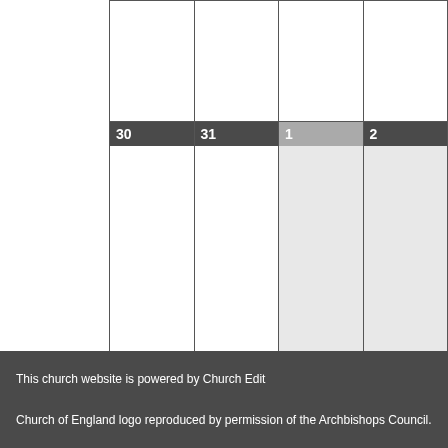| 30 | 31 | 1 | 2 |
| --- | --- | --- | --- |
|  |  |  |  |
|  |  |  |  |
<< April
This church website is powered by Church Edit

Church of England logo reproduced by permission of the Archbishops Council.